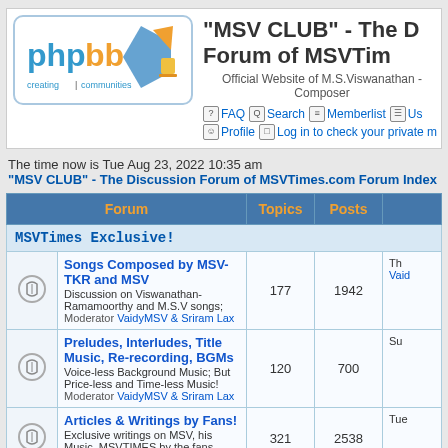[Figure (logo): phpBB logo - creating communities, with blue pentagon and orange triangle shapes]
"MSV CLUB" - The Discussion Forum of MSVTimes.com
Official Website of M.S.Viswanathan - Composer
FAQ  Search  Memberlist  Us...  Profile  Log in to check your private m...
The time now is Tue Aug 23, 2022 10:35 am
"MSV CLUB" - The Discussion Forum of MSVTimes.com Forum Index
| Forum | Topics | Posts |  |
| --- | --- | --- | --- |
| MSVTimes Exclusive! |  |  |  |
| Songs Composed by MSV-TKR and MSV
Discussion on Viswanathan-Ramamoorthy and M.S.V songs;
Moderator VaidyMSV & Sriram Lax | 177 | 1942 | Th... Vaid... |
| Preludes, Interludes, Title Music, Re-recording, BGMs
Voice-less Background Music; But Price-less and Time-less Music!
Moderator VaidyMSV & Sriram Lax | 120 | 700 | Su... |
| Articles & Writings by Fans!
Exclusive writings on MSV, his Music, MSVTIMES by the fans.
Moderator VaidyMSV & Sriram Lax | 321 | 2538 | Tue... |
| Pick a Song and Analyze! |  |  |  |